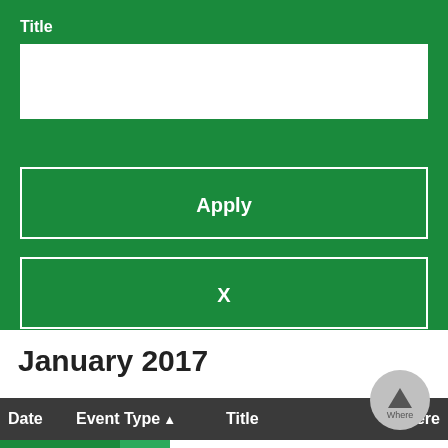Title
[Figure (screenshot): White text input box for Title field]
Apply
X
January 2017
| Date | Event Type ▲ | Title | Where |
| --- | --- | --- | --- |